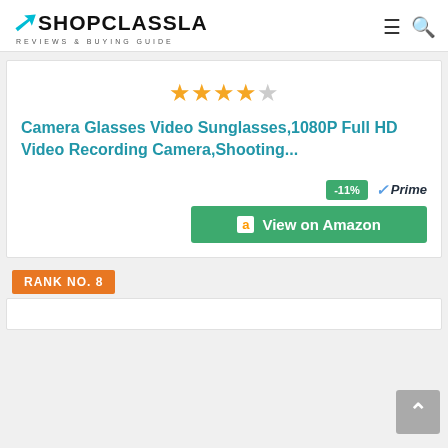SHOPCLASSLA - REVIEWS & BUYING GUIDE
[Figure (other): Star rating showing 4 out of 5 stars]
Camera Glasses Video Sunglasses,1080P Full HD Video Recording Camera,Shooting...
-11% Prime View on Amazon
RANK NO. 8